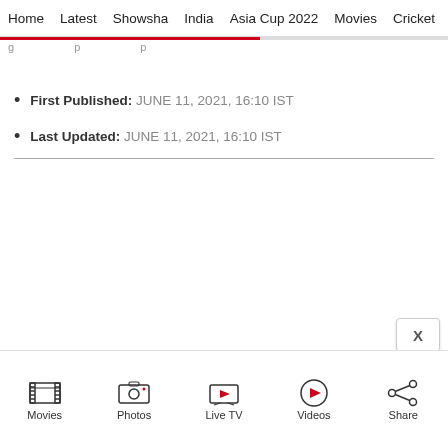Home | Latest | Showsha | India | Asia Cup 2022 | Movies | Cricket
First Published: JUNE 11, 2021, 16:10 IST
Last Updated: JUNE 11, 2021, 16:10 IST
[Figure (screenshot): Large empty white content area (advertisement or media placeholder)]
[Figure (screenshot): Close button (X) overlay in bottom right of content area]
Movies | Photos | Live TV | Videos | Share